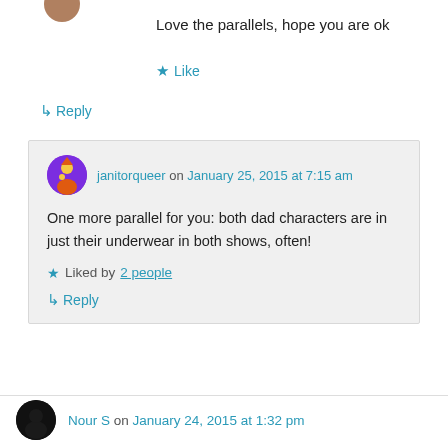[Figure (photo): Small circular avatar photo of a user, partially visible at top]
Love the parallels, hope you are ok
★ Like
↳ Reply
janitorqueer on January 25, 2015 at 7:15 am
One more parallel for you: both dad characters are in just their underwear in both shows, often!
★ Liked by 2 people
↳ Reply
[Figure (photo): Small circular avatar for Nour S, dark silhouette]
Nour S on January 24, 2015 at 1:32 pm